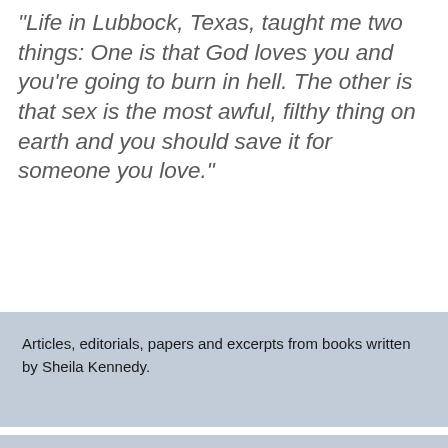“Life in Lubbock, Texas, taught me two things: One is that God loves you and you’re going to burn in hell. The other is that sex is the most awful, filthy thing on earth and you should save it for someone you love.”
Articles, editorials, papers and excerpts from books written by Sheila Kennedy.